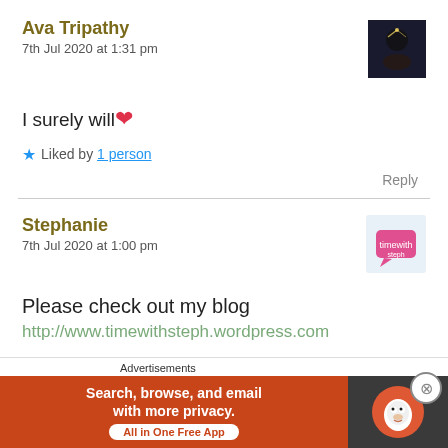Ava Tripathy
7th Jul 2020 at 1:31 pm
[Figure (photo): Small avatar image: dark silhouette photo]
I surely will ❤
★ Liked by 1 person
Reply
Stephanie
7th Jul 2020 at 1:00 pm
[Figure (logo): Small avatar: Stephanie blog icon with pink comment bubble]
Please check out my blog
http://www.timewithsteph.wordpress.com
Advertisements
[Figure (infographic): DuckDuckGo advertisement banner: Search, browse, and email with more privacy. All in One Free App]